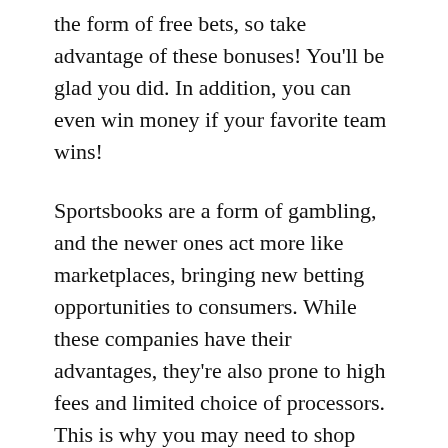the form of free bets, so take advantage of these bonuses! You'll be glad you did. In addition, you can even win money if your favorite team wins!
Sportsbooks are a form of gambling, and the newer ones act more like marketplaces, bringing new betting opportunities to consumers. While these companies have their advantages, they're also prone to high fees and limited choice of processors. This is why you may need to shop around a bit before settling on one. But, as long as your sportsbook is legitimate, you'll be fine. And if you're smart, you can always use a betting exchange to maximize your profits.